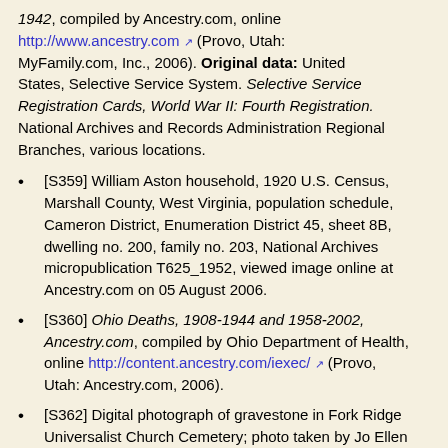1942, compiled by Ancestry.com, online http://www.ancestry.com (Provo, Utah: MyFamily.com, Inc., 2006). Original data: United States, Selective Service System. Selective Service Registration Cards, World War II: Fourth Registration. National Archives and Records Administration Regional Branches, various locations.
[S359] William Aston household, 1920 U.S. Census, Marshall County, West Virginia, population schedule, Cameron District, Enumeration District 45, sheet 8B, dwelling no. 200, family no. 203, National Archives micropublication T625_1952, viewed image online at Ancestry.com on 05 August 2006.
[S360] Ohio Deaths, 1908-1944 and 1958-2002, Ancestry.com, compiled by Ohio Department of Health, online http://content.ancestry.com/iexec/ (Provo, Utah: Ancestry.com, 2006).
[S362] Digital photograph of gravestone in Fork Ridge Universalist Church Cemetery; photo taken by Jo Ellen Dalton, 03 June 2004.
[S363] Digital photograph of gravestone in Harris family plot (Fork Ridge, Marshall County, WA); photo taken by